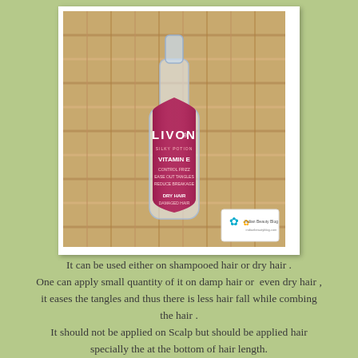[Figure (photo): A bottle of Livon Vitamin E hair serum with a pink label sitting in a wicker basket, with a small branded logo sticker in the bottom right corner.]
It can be used either on shampooed hair or dry hair . One can apply small quantity of it on damp hair or  even dry hair , it eases the tangles and thus there is less hair fall while combing the hair . It should not be applied on Scalp but should be applied hair specially the at the bottom of hair length.